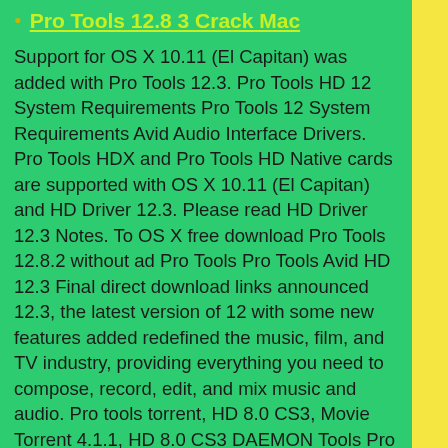Pro Tools 12.8 3 Crack Mac
Support for OS X 10.11 (El Capitan) was added with Pro Tools 12.3. Pro Tools HD 12 System Requirements Pro Tools 12 System Requirements Avid Audio Interface Drivers. Pro Tools HDX and Pro Tools HD Native cards are supported with OS X 10.11 (El Capitan) and HD Driver 12.3. Please read HD Driver 12.3 Notes. To OS X free download Pro Tools 12.8.2 without ad Pro Tools Pro Tools Avid HD 12.3 Final direct download links announced 12.3, the latest version of 12 with some new features added redefined the music, film, and TV industry, providing everything you need to compose, record, edit, and mix music and audio. Pro tools torrent, HD 8.0 CS3, Movie Torrent 4.1.1, HD 8.0 CS3 DAEMON Tools Pro 8.
Pro Tools 12 Mac Torrent. Avid Pro Tools 12 Mac Crack, is a popular software that is used to record, mix music and sound. Therefore, it is more flexible editing, recording and mixing environment. Avid Pro has a very simple interface anyone can use it easily. Because it is a professional audio tool. Pro Tools 12 Mac Crack Reddit. This video is about